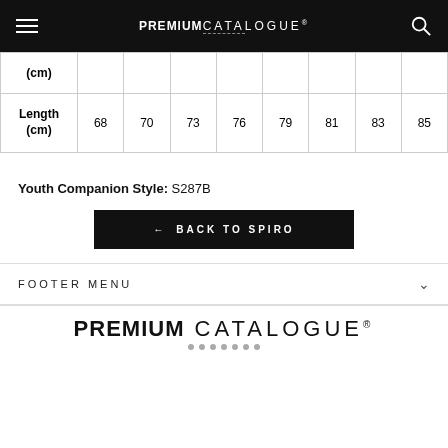PREMIUM CATALOGUE
|  |  |  |  |  |  |  |  |  |
| --- | --- | --- | --- | --- | --- | --- | --- | --- |
| (cm) |  |  |  |  |  |  |  |  |
| Length (cm) | 68 | 70 | 73 | 76 | 79 | 81 | 83 | 85 |
Youth Companion Style: S287B
← BACK TO SPIRO
FOOTER MENU
PREMIUM CATALOGUE